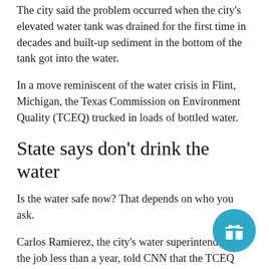The city said the problem occurred when the city's elevated water tank was drained for the first time in decades and built-up sediment in the bottom of the tank got into the water.
In a move reminiscent of the water crisis in Flint, Michigan, the Texas Commission on Environment Quality (TCEQ) trucked in loads of bottled water.
State says don't drink the water
Is the water safe now? That depends on who you ask.
Carlos Ramierez, the city's water superintendent on the job less than a year, told CNN that the TCEQ declared the water safe for drinking Saturday morning.
But TCEQ media relations manager Andrea Morrow told CNN that's not what happened.
"While the most recent samples testing for water pressure, chlorination, and bacteria have come back in the acceptable range, we would like to wait until we have the complete suite of test results back until we can give the all-clear," she said. "We may have these as soon as Tuesday. In the meantime, we would still urge
[Figure (other): Circular teal/blue button with a gift box icon]